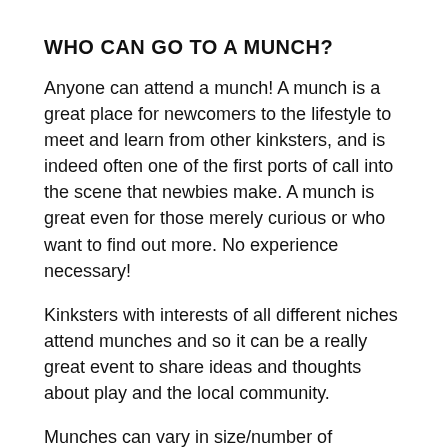WHO CAN GO TO A MUNCH?
Anyone can attend a munch! A munch is a great place for newcomers to the lifestyle to meet and learn from other kinksters, and is indeed often one of the first ports of call into the scene that newbies make. A munch is great even for those merely curious or who want to find out more. No experience necessary!
Kinksters with interests of all different niches attend munches and so it can be a really great event to share ideas and thoughts about play and the local community.
Munches can vary in size/number of attendees as well as how...